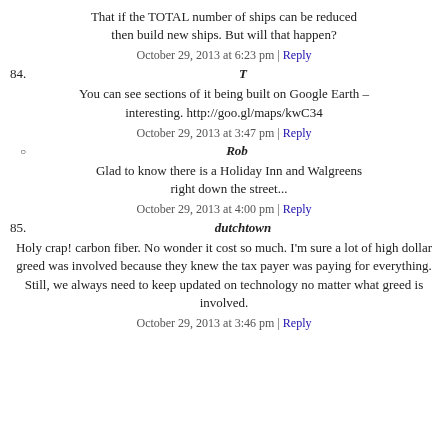That if the TOTAL number of ships can be reduced then build new ships. But will that happen?
October 29, 2013 at 6:23 pm | Reply
84. T
You can see sections of it being built on Google Earth – interesting. http://goo.gl/maps/kwC34
October 29, 2013 at 3:47 pm | Reply
Rob
Glad to know there is a Holiday Inn and Walgreens right down the street...
October 29, 2013 at 4:00 pm | Reply
85. dutchtown
Holy crap! carbon fiber. No wonder it cost so much. I'm sure a lot of high dollar greed was involved because they knew the tax payer was paying for everything. Still, we always need to keep updated on technology no matter what greed is involved.
October 29, 2013 at 3:46 pm | Reply